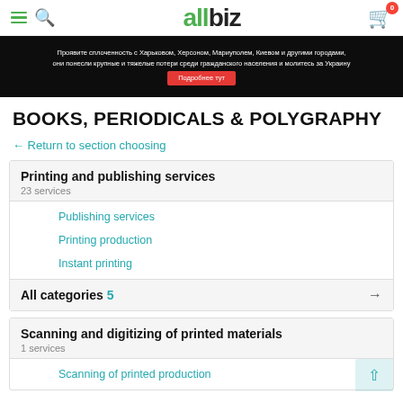allbiz navigation header with hamburger menu, search icon, allbiz logo, cart icon with badge 0
[Figure (photo): Banner with dark background and Russian text about solidarity with Ukrainian cities, with red button 'Подробнее тут']
BOOKS, PERIODICALS & POLYGRAPHY
← Return to section choosing
Printing and publishing services
23 services
Publishing services
Printing production
Instant printing
All categories 5 →
Scanning and digitizing of printed materials
1 services
Scanning of printed production